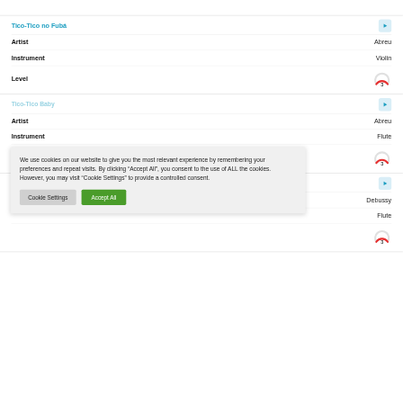| Field | Value |
| --- | --- |
| Tico-Tico no Fubá | ▶ |
| Artist | Abreu |
| Instrument | Violin |
| Level | 3 |
| Field | Value |
| --- | --- |
| [Tico-Tico Baby] | ▶ |
| Artist | Abreu |
| Instrument | Flute |
| Level | 3 |
| Field | Value |
| --- | --- |
|  | ▶ |
| Artist | Debussy |
| Instrument | Flute |
| Level | 3 |
We use cookies on our website to give you the most relevant experience by remembering your preferences and repeat visits. By clicking “Accept All”, you consent to the use of ALL the cookies. However, you may visit “Cookie Settings” to provide a controlled consent.
Cookie Settings
Accept All